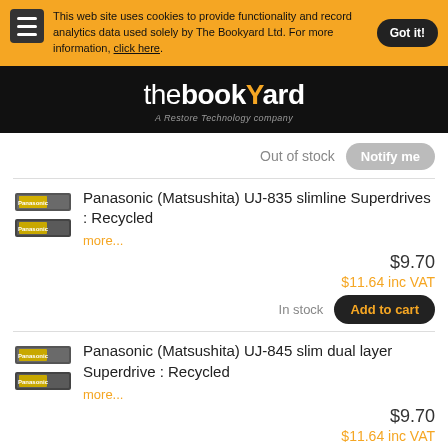This web site uses cookies to provide functionality and record analytics data used solely by The Bookyard Ltd. For more information, click here.
[Figure (logo): The Bookyard logo — 'thebookYard' in white and orange on black background, subtitle 'A Restore Technology company']
Out of stock   Notify me
[Figure (photo): Panasonic superdrive product image — two stacked slim optical drive units with yellow/gold labels]
Panasonic (Matsushita) UJ-835 slimline Superdrives : Recycled
more...
$9.70
$11.64 inc VAT
In stock   Add to cart
[Figure (photo): Panasonic superdrive product image — two stacked slim optical drive units with yellow/gold labels]
Panasonic (Matsushita) UJ-845 slim dual layer Superdrive : Recycled
more...
$9.70
$11.64 inc VAT
In stock   Add to cart
[Figure (photo): Panasonic superdrive product image — slim optical drive unit with yellow/gold label]
Panasonic (Matsushita) UJ-846 slim dual layer Superdrive (Apple) : Recycled